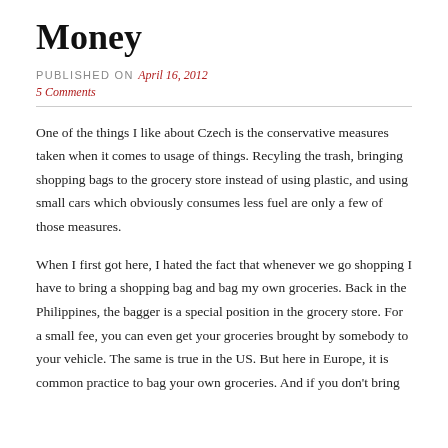Money
PUBLISHED ON April 16, 2012
5 Comments
One of the things I like about Czech is the conservative measures taken when it comes to usage of things.  Recyling the trash, bringing shopping bags to the grocery store instead of using plastic, and using small cars which obviously consumes less fuel are only a few of those measures.
When I first got here, I hated the fact that whenever we go shopping I have to bring a shopping bag and bag my own groceries.  Back in the Philippines, the bagger is a special position in the grocery store.  For a small fee, you can even get your groceries brought by somebody to your vehicle.   The same is true in the US.  But here in Europe, it is common practice to bag your own groceries.   And if you don't bring